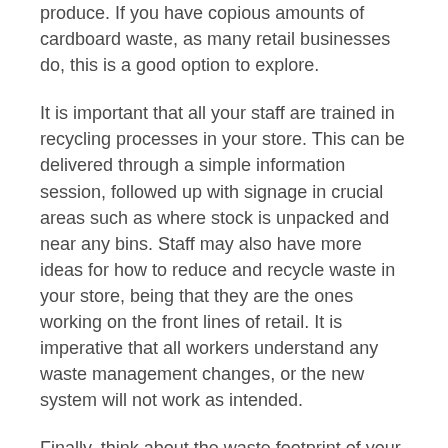produce. If you have copious amounts of cardboard waste, as many retail businesses do, this is a good option to explore.
It is important that all your staff are trained in recycling processes in your store. This can be delivered through a simple information session, followed up with signage in crucial areas such as where stock is unpacked and near any bins. Staff may also have more ideas for how to reduce and recycle waste in your store, being that they are the ones working on the front lines of retail. It is imperative that all workers understand any waste management changes, or the new system will not work as intended.
Finally, think about the waste footprint of your store after your customers leave. You would rarely directly see the impact of your product and